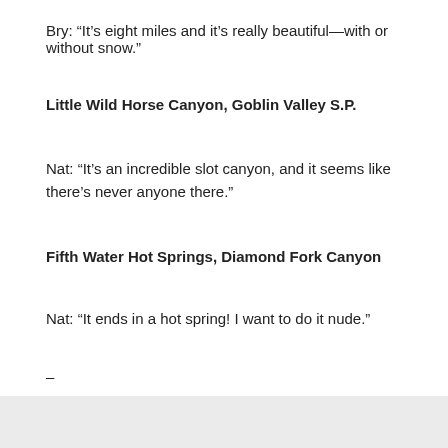Bry: “It’s eight miles and it’s really beautiful—with or without snow.”
Little Wild Horse Canyon, Goblin Valley S.P.
Nat: “It’s an incredible slot canyon, and it seems like there’s never anyone there.”
Fifth Water Hot Springs, Diamond Fork Canyon
Nat: “It ends in a hot spring! I want to do it nude.”
–
See more inside our 2017 September/October Issue.